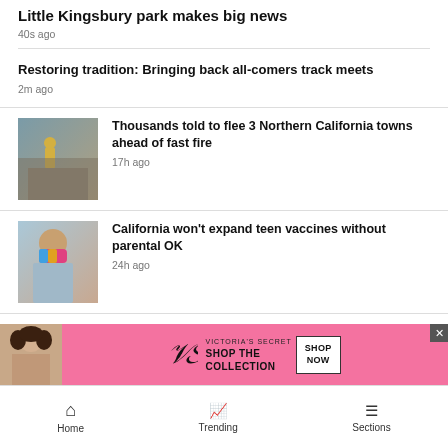Little Kingsbury park makes big news
40s ago
Restoring tradition: Bringing back all-comers track meets
2m ago
[Figure (photo): Firefighter in yellow gear walking through debris, mountains in background]
Thousands told to flee 3 Northern California towns ahead of fast fire
17h ago
[Figure (photo): Young person wearing a colorful tie-dye face mask]
California won't expand teen vaccines without parental OK
24h ago
[Figure (photo): Victoria's Secret advertisement with woman model, pink background, Shop the Collection text]
Home   Trending   Sections